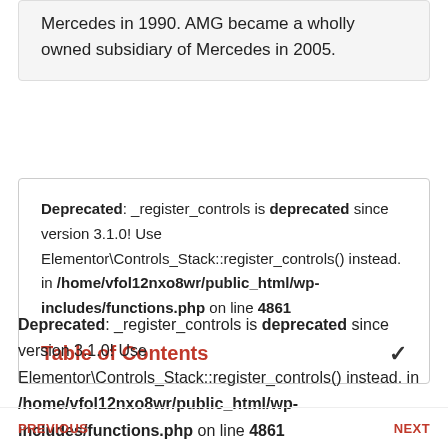Mercedes in 1990. AMG became a wholly owned subsidiary of Mercedes in 2005.
Deprecated: _register_controls is deprecated since version 3.1.0! Use Elementor\Controls_Stack::register_controls() instead. in /home/vfol12nxo8wr/public_html/wp-includes/functions.php on line 4861
Table of Contents
Deprecated: _register_controls is deprecated since version 3.1.0! Use Elementor\Controls_Stack::register_controls() instead. in /home/vfol12nxo8wr/public_html/wp-includes/functions.php on line 4861
PREVIOUS | NEXT